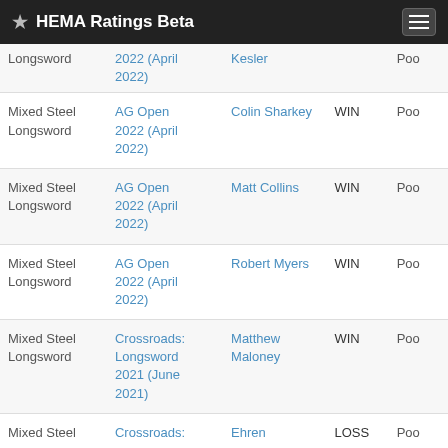HEMA Ratings Beta
| Weapon | Event | Opponent | Result | Pool |
| --- | --- | --- | --- | --- |
| Mixed Steel Longsword | AG Open 2022 (April 2022) | Kesler |  | Poo... |
| Mixed Steel Longsword | AG Open 2022 (April 2022) | Colin Sharkey | WIN | Poo... |
| Mixed Steel Longsword | AG Open 2022 (April 2022) | Matt Collins | WIN | Poo... |
| Mixed Steel Longsword | AG Open 2022 (April 2022) | Robert Myers | WIN | Poo... |
| Mixed Steel Longsword | Crossroads: Longsword 2021 (June 2021) | Matthew Maloney | WIN | Poo... |
| Mixed Steel | Crossroads: | Ehren | LOSS | Poo... |